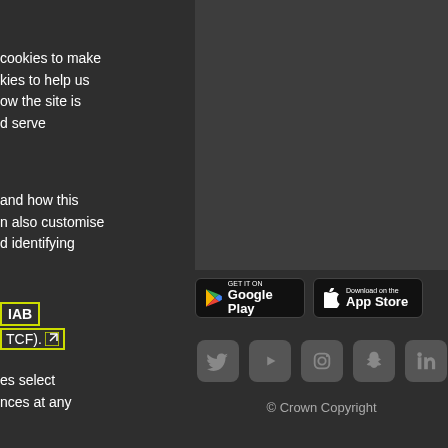cookies to make
kies to help us
ow the site is
d serve
and how this
n also customise
d identifying
IAB
TCF).
es select
nces at any
[Figure (screenshot): Dark grey rectangle area, top right portion of page]
[Figure (other): Google Play store download button]
[Figure (other): Apple App Store download button]
[Figure (other): Social media icons row: Twitter, YouTube, Instagram, Snapchat, LinkedIn]
© Crown Copyright